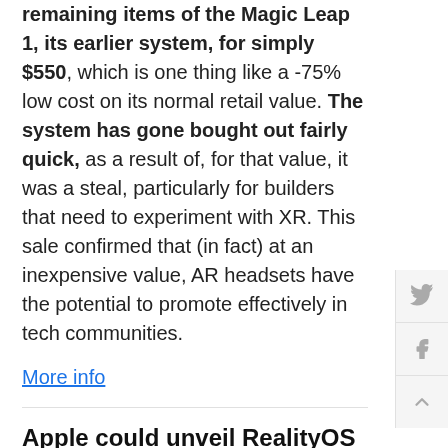Magic Leap has determined to placed on sale its remaining items of the Magic Leap 1, its earlier system, for simply $550, which is one thing like a -75% low cost on its normal retail value. The system has gone bought out fairly quick, as a result of, for that value, it was a steal, particularly for builders that need to experiment with XR. This sale confirmed that (in fact) at an inexpensive value, AR headsets have the potential to promote effectively in tech communities.
More info
Apple could unveil RealityOS at WWDC
At the upcoming WWDC, Apple could unveil its wor system for XR glasses, dubbed RealityOS. The firm